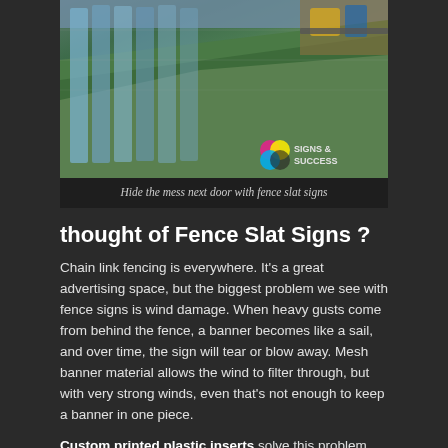[Figure (photo): Photo of a chain link fence next to a grassy slope, with blue/grey banners or coverings draped through the fence. A watermark reading 'SIGNS & SUCCESS' with a colorful logo is visible in the bottom-right of the photo.]
Hide the mess next door with fence slat signs
thought of Fence Slat Signs ?
Chain link fencing is everywhere.  It's a great advertising space, but the biggest problem we see with fence signs is wind damage.  When heavy gusts come from behind the fence, a banner becomes like a sail, and over time, the sign will tear or blow away.  Mesh banner material allows the wind to filter through, but with very strong winds, even that's not enough to keep a banner in one piece.
Custom printed plastic inserts solve this problem.  They slide into chain link fence, and because individual slats have much less surface area than a large sign or banner, they're